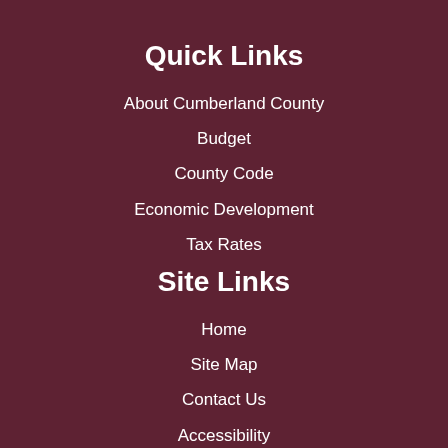Quick Links
About Cumberland County
Budget
County Code
Economic Development
Tax Rates
Site Links
Home
Site Map
Contact Us
Accessibility